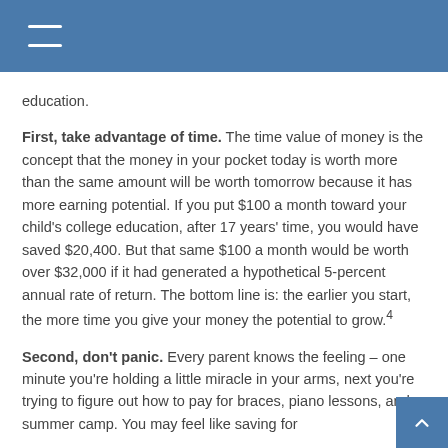education.
First, take advantage of time. The time value of money is the concept that the money in your pocket today is worth more than the same amount will be worth tomorrow because it has more earning potential. If you put $100 a month toward your child's college education, after 17 years' time, you would have saved $20,400. But that same $100 a month would be worth over $32,000 if it had generated a hypothetical 5-percent annual rate of return. The bottom line is: the earlier you start, the more time you give your money the potential to grow.4
Second, don't panic. Every parent knows the feeling – one minute you're holding a little miracle in your arms, next you're trying to figure out how to pay for braces, piano lessons, and summer camp. You may feel like saving for